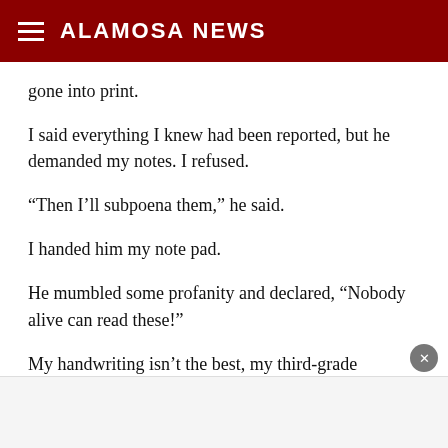ALAMOSA NEWS
gone into print.
I said everything I knew had been reported, but he demanded my notes. I refused.
“Then I’ll subpoena them,” he said.
I handed him my note pad.
He mumbled some profanity and declared, “Nobody alive can read these!”
My handwriting isn’t the best, my third-grade penmanship teacher notwithstanding. She gave